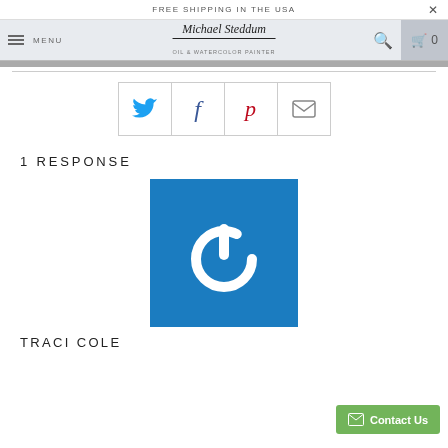FREE SHIPPING IN THE USA
Michael Steddum — OIL & WATERCOLOR PAINTER
[Figure (screenshot): Social share buttons: Twitter (blue bird), Facebook (blue f), Pinterest (red p), Email (envelope icon)]
1 RESPONSE
[Figure (photo): Blue square avatar with white power button icon — user avatar for commenter Traci Cole]
TRACI COLE